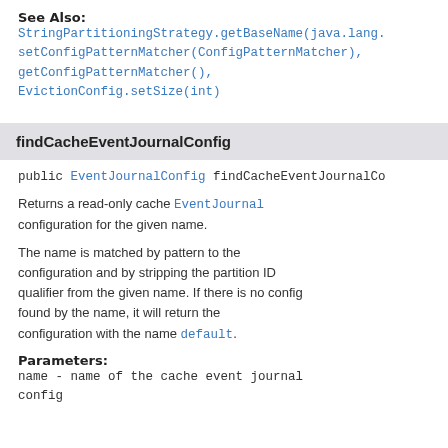See Also:
StringPartitioningStrategy.getBaseName(java.lang.
setConfigPatternMatcher(ConfigPatternMatcher),
getConfigPatternMatcher(),
EvictionConfig.setSize(int)
findCacheEventJournalConfig
public EventJournalConfig findCacheEventJournalCo…
Returns a read-only cache EventJournal configuration for the given name.
The name is matched by pattern to the configuration and by stripping the partition ID qualifier from the given name. If there is no config found by the name, it will return the configuration with the name default.
Parameters:
name - name of the cache event journal config